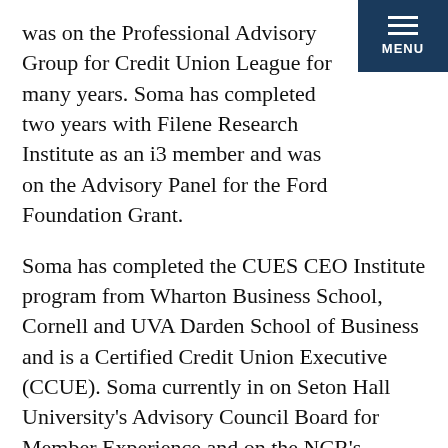was on the Professional Advisory Group for Credit Union League for many years. Soma has completed two years with Filene Research Institute as an i3 member and was on the Advisory Panel for the Ford Foundation Grant.
Soma has completed the CUES CEO Institute program from Wharton Business School, Cornell and UVA Darden School of Business and is a Certified Credit Union Executive (CCUE). Soma currently in on Seton Hall University's Advisory Council Board for Member Experience and on the NCR's Solution Advisory Board. Soma is also the Executive Liaison for the Credit's CUSO (Member Support Services) Soma is on the Credit Union's ALCO Committee and on the Board for the Credit Union's Foundation.